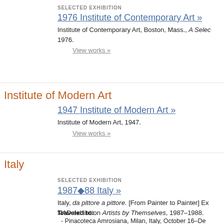SELECTED EXHIBITION
1976 Institute of Contemporary Art »
Institute of Contemporary Art, Boston, Mass., A Selec... 1976.
View works »
Institute of Modern Art
1947 Institute of Modern Art »
Institute of Modern Art, 1947.
View works »
Italy
SELECTED EXHIBITION
1987◆88 Italy »
Italy, da pittore a pittore. [From Painter to Painter] Exh... NAD exhibition Artists by Themselves, 1987–1988.
Traveled to:
- Pinacoteca Amrosiana, Milan, Italy, October 16–De...